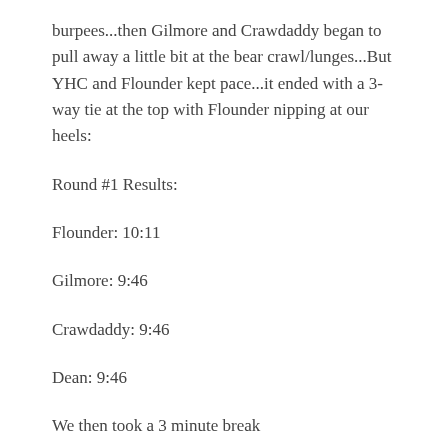burpees...then Gilmore and Crawdaddy began to pull away a little bit at the bear crawl/lunges...But YHC and Flounder kept pace...it ended with a 3-way tie at the top with Flounder nipping at our heels:
Round #1 Results:
Flounder: 10:11
Gilmore: 9:46
Crawdaddy: 9:46
Dean: 9:46
We then took a 3 minute break